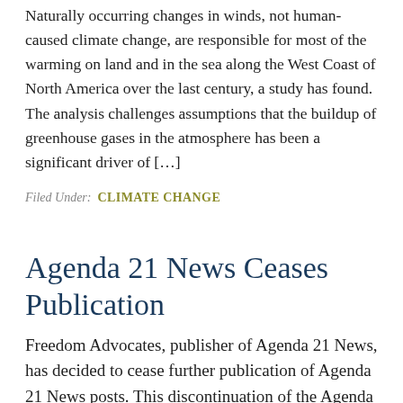Naturally occurring changes in winds, not human-caused climate change, are responsible for most of the warming on land and in the sea along the West Coast of North America over the last century, a study has found. The analysis challenges assumptions that the buildup of greenhouse gases in the atmosphere has been a significant driver of […]
Filed Under: CLIMATE CHANGE
Agenda 21 News Ceases Publication
Freedom Advocates, publisher of Agenda 21 News, has decided to cease further publication of Agenda 21 News posts. This discontinuation of the Agenda 21 News Digest takes effect immediately. Agenda21News.com will remain live for at